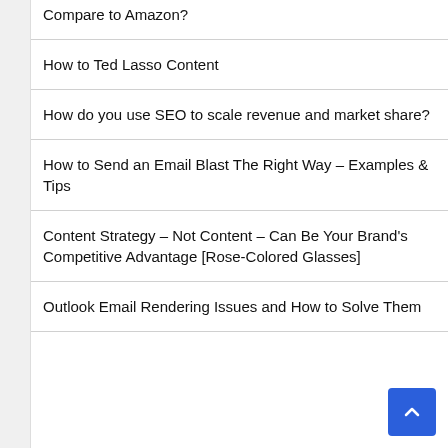Compare to Amazon?
How to Ted Lasso Content
How do you use SEO to scale revenue and market share?
How to Send an Email Blast The Right Way – Examples & Tips
Content Strategy – Not Content – Can Be Your Brand's Competitive Advantage [Rose-Colored Glasses]
Outlook Email Rendering Issues and How to Solve Them